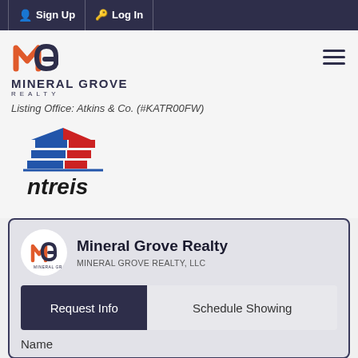Sign Up  Log In
[Figure (logo): Mineral Grove Realty logo with orange and navy M-G monogram and text MINERAL GROVE REALTY]
Listing Office: Atkins & Co. (#KATR00FW)
[Figure (logo): NTREIS logo with red, white, and blue house/flag icon and lowercase 'ntreis' text]
Mineral Grove Realty
MINERAL GROVE REALTY, LLC
Request Info
Schedule Showing
Name